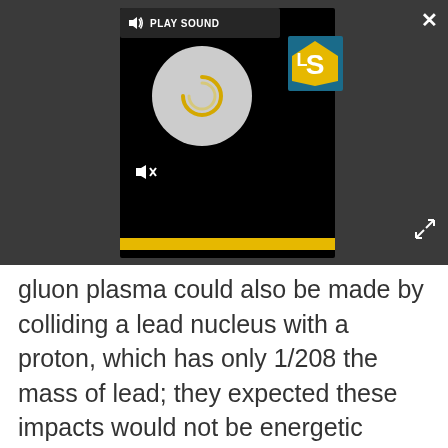[Figure (screenshot): A media player UI panel with 'PLAY SOUND' button, circular playback button with a gold loading/pause icon, an LS logo (gold and teal), a mute icon, and a gold progress bar at the bottom. Set against a dark gray background with a close (X) button and expand arrows.]
gluon plasma could also be made by colliding a lead nucleus with a proton, which has only 1/208 the mass of lead; they expected these impacts would not be energetic enough to produce the plasma.
[Figure (other): Advertisement placeholder box with light gray background and 'Advertisement' label text.]